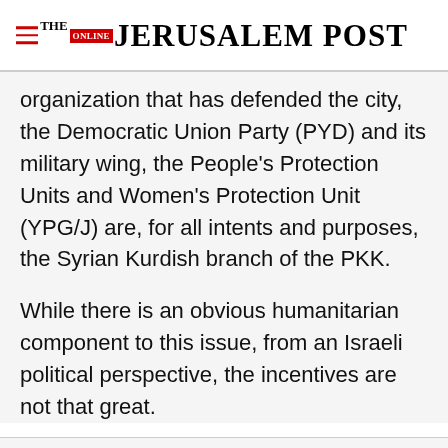THE JERUSALEM POST
organization that has defended the city, the Democratic Union Party (PYD) and its military wing, the People’s Protection Units and Women’s Protection Unit (YPG/J) are, for all intents and purposes, the Syrian Kurdish branch of the PKK.
While there is an obvious humanitarian component to this issue, from an Israeli political perspective, the incentives are not that great.
Advertisement